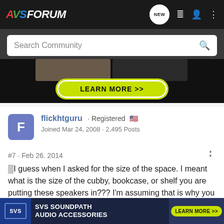AVSForum - Search Community
[Figure (screenshot): Advertisement banner with Learn More button on dark background]
flickhtguru · Registered
Joined Mar 24, 2008 · 2,495 Posts
#7 · Feb 26, 2014
I guess when I asked for the size of the space. I meant what is the size of the cubby, bookcase, or shelf you are putting these speakers in??? I'm assuming that is why you were saying you need front ported or sealed speakers.
[Figure (screenshot): SVS SoundPath Audio Accessories advertisement banner with Learn More button]